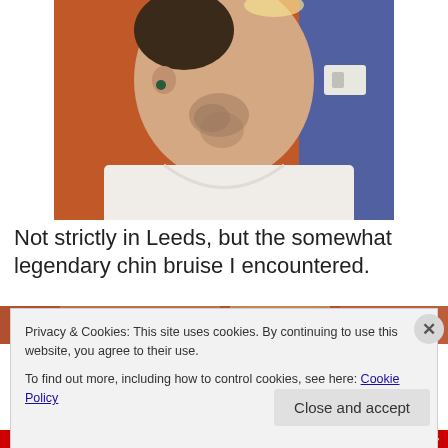[Figure (photo): Close-up photo of a person's chin and neck area showing a bruise, wearing a white t-shirt, with orange and blue walls in the background]
Not strictly in Leeds, but the somewhat legendary chin bruise I encountered.
[Figure (photo): Partial view of another image below, mostly cropped]
Privacy & Cookies: This site uses cookies. By continuing to use this website, you agree to their use.
To find out more, including how to control cookies, see here: Cookie Policy
Close and accept